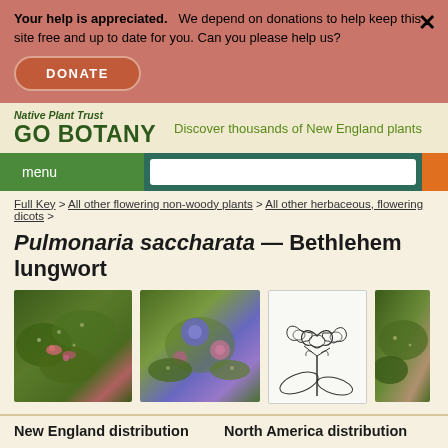Your help is appreciated. We depend on donations to help keep this site free and up to date for you. Can you please help us?
DONATE
Native Plant Trust GO BOTANY — Discover thousands of New England plants
menu
Full Key > All other flowering non-woody plants > All other herbaceous, flowering dicots >
Pulmonaria saccharata — Bethlehem lungwort
[Figure (photo): Photo of Pulmonaria saccharata showing spotted leaves and pink flowers]
[Figure (photo): Photo of Pulmonaria saccharata showing blue and pink flowers]
[Figure (illustration): Botanical line drawing of Pulmonaria saccharata flower structure]
[Figure (photo): Partial photo of Pulmonaria saccharata foliage]
New England distribution
North America distribution